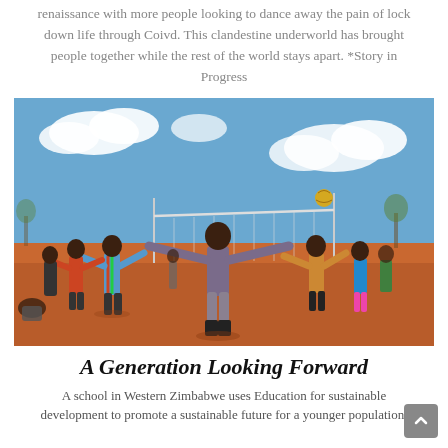renaissance with more people looking to dance away the pain of lock down life through Coivd. This clandestine underworld has brought people together while the rest of the world stays apart. *Story in Progress
[Figure (photo): Children playing volleyball on a red dirt field under a blue sky with clouds. A boy in the foreground stands with arms outstretched, others are visible in the background playing near a net.]
A Generation Looking Forward
A school in Western Zimbabwe uses Education for sustainable development to promote a sustainable future for a younger population.